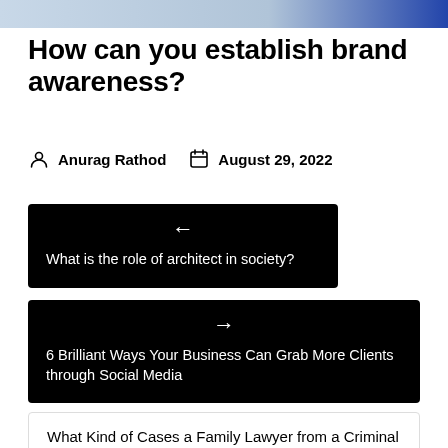[Figure (photo): Partial hero image at top of page, showing blue tones]
How can you establish brand awareness?
Anurag Rathod  August 29, 2022
← What is the role of architect in society?
→ 6 Brilliant Ways Your Business Can Grab More Clients through Social Media
What Kind of Cases a Family Lawyer from a Criminal